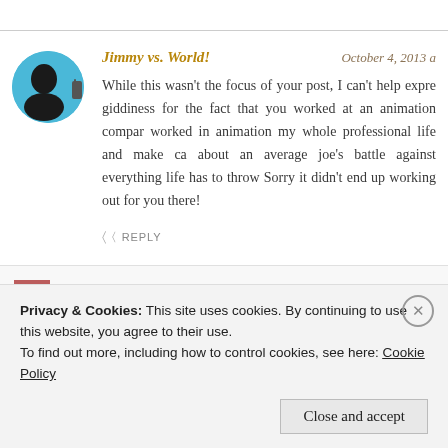Jimmy vs. World!
October 4, 2013 a
While this wasn't the focus of your post, I can't help expre giddiness for the fact that you worked at an animation compar worked in animation my whole professional life and make ca about an average joe's battle against everything life has to throw Sorry it didn't end up working out for you there!
REPLY
Privacy & Cookies: This site uses cookies. By continuing to use this website, you agree to their use.
To find out more, including how to control cookies, see here: Cookie Policy
Close and accept